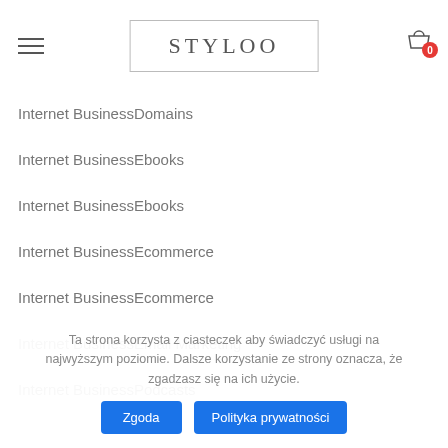STYLOO
Internet BusinessDomains
Internet BusinessEbooks
Internet BusinessEbooks
Internet BusinessEcommerce
Internet BusinessEcommerce
Internet BusinessEmail Marketing
Internet BusinessPodcasts
Ta strona korzysta z ciasteczek aby świadczyć usługi na najwyższym poziomie. Dalsze korzystanie ze strony oznacza, że zgadzasz się na ich użycie.
Zgoda   Polityka prywatności